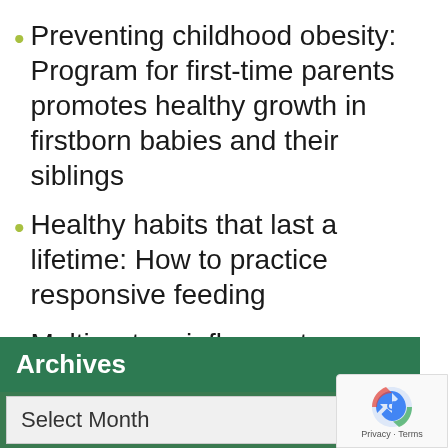Preventing childhood obesity: Program for first-time parents promotes healthy growth in firstborn babies and their siblings
Healthy habits that last a lifetime: How to practice responsive feeding
Multisystem inflammatory syndrome in children
Archives
Select Month